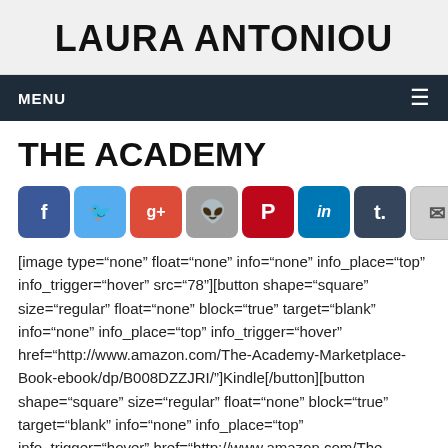LAURA ANTONIOU
MENU
THE ACADEMY
[Figure (other): Social sharing icons row: Facebook, Twitter, Google+, Reddit, Pinterest, LinkedIn, Tumblr, Email]
[image type="none" float="none" info="none" info_place="top" info_trigger="hover" src="78"][button shape="square" size="regular" float="none" block="true" target="blank" info="none" info_place="top" info_trigger="hover" href="http://www.amazon.com/The-Academy-Marketplace-Book-ebook/dp/B008DZZJRI/"]Kindle[/button][button shape="square" size="regular" float="none" block="true" target="blank" info="none" info_place="top" info_trigger="hover" href="http://www.amazon.com/The-Academy-Laura-